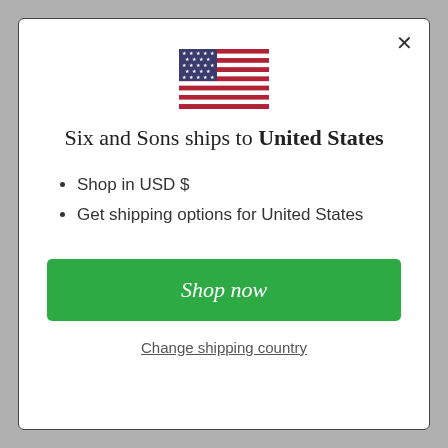[Figure (illustration): US flag emoji/icon]
Six and Sons ships to United States
Shop in USD $
Get shipping options for United States
Shop now
Change shipping country